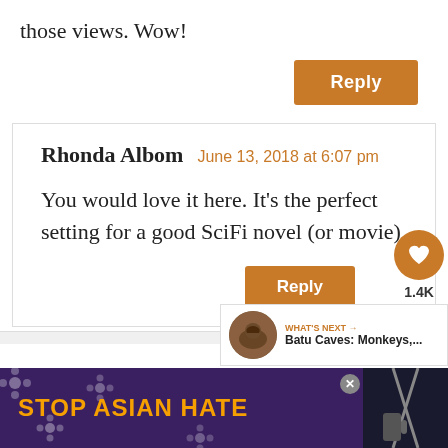those views. Wow!
Reply
Rhonda Albom  June 13, 2018 at 6:07 pm
You would love it here. It’s the perfect setting for a good SciFi novel (or movie)
Reply
[Figure (infographic): STOP ASIAN HATE advertisement banner with purple/dark background, orange text, flower decorations, and a woman figure on the right side.]
[Figure (infographic): What's Next widget showing Batu Caves: Monkeys,... with a thumbnail image]